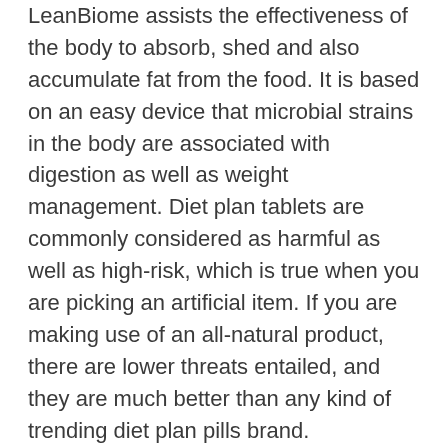LeanBiome assists the effectiveness of the body to absorb, shed and also accumulate fat from the food. It is based on an easy device that microbial strains in the body are associated with digestion as well as weight management. Diet plan tablets are commonly considered as harmful as well as high-risk, which is true when you are picking an artificial item. If you are making use of an all-natural product, there are lower threats entailed, and they are much better than any kind of trending diet plan pills brand.
LeanBiome is just one of these products that are easy to use as well as risk-free for long-term use. It boosts metabolic rate as well as makes the body use all of the calories gotten from food. The results include much better digestive system